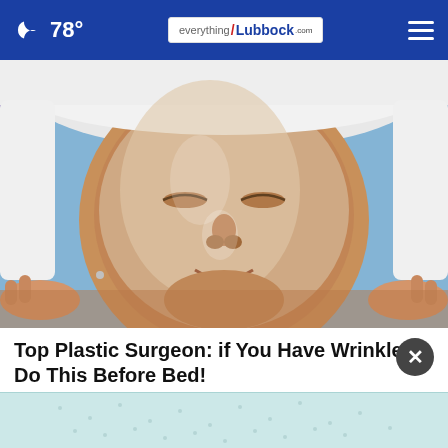🌙 78° | everythingLubbock.com
[Figure (photo): Close-up photo of a woman lying down with a clear gel/sheet face mask applied, wrapped in a white towel, eyes closed, with hands visible at the sides removing or applying the mask.]
Top Plastic Surgeon: if You Have Wrinkles, Do This Before Bed!
Extremely Effective Anti-aging